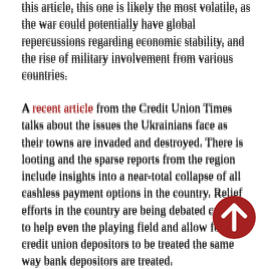this article, this one is likely the most volatile, as the war could potentially have global repercussions regarding economic stability, and the rise of military involvement from various countries.
A recent article from the Credit Union Times talks about the issues the Ukrainians face as their towns are invaded and destroyed. There is looting and the sparse reports from the region include insights into a near-total collapse of all cashless payment options in the country. Relief efforts in the country are being debated currently to help even the playing field and allow for credit union depositors to be treated the same way bank depositors are treated.
In early March, the World Council of Credit Unions (WOCCU) and the World Foundation for Credit Unions have launched campaigns to aid Ukraine, including the creation of the Ukrainian Credit Union Displacement Fund, and